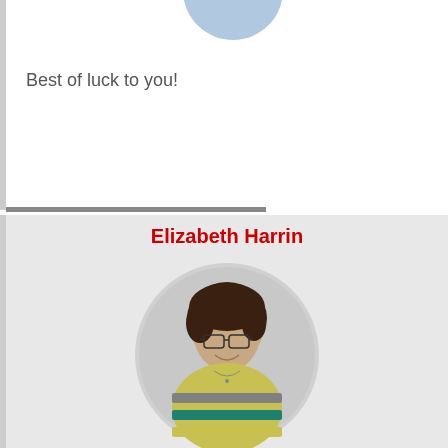[Figure (photo): Partial circular profile photo visible at top of page, cropped]
Best of luck to you!
Elizabeth Harrin
[Figure (photo): Circular profile photo of Elizabeth Harrin, a woman with short dark hair, glasses, smiling, wearing a striped colorful top]